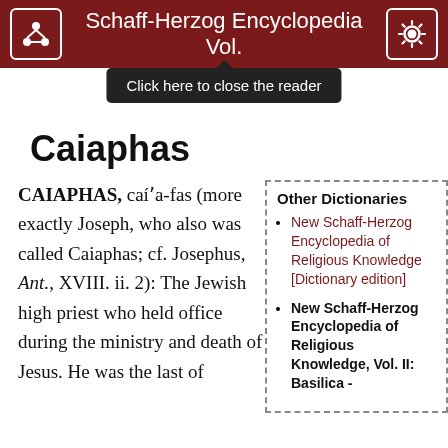Schaff-Herzog Encyclopedia Vol.
Caiaphas
CAIAPHAS, caí'a-fas (more exactly Joseph, who also was called Caiaphas; cf. Josephus, Ant., XVIII. ii. 2): The Jewish high priest who held office during the ministry and death of Jesus. He was the last of
Other Dictionaries
New Schaff-Herzog Encyclopedia of Religious Knowledge [Dictionary edition]
New Schaff-Herzog Encyclopedia of Religious Knowledge, Vol. II: Basilica -